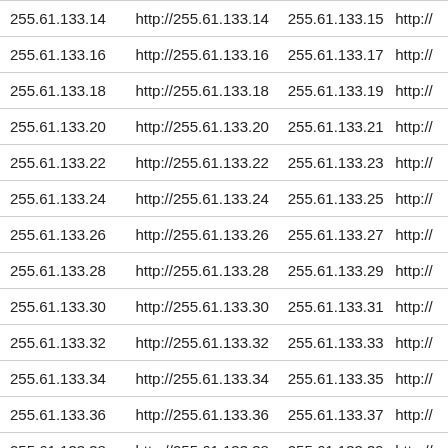| IP | URL | IP | URL |
| --- | --- | --- | --- |
| 255.61.133.14 | http://255.61.133.14 | 255.61.133.15 | http://… |
| 255.61.133.16 | http://255.61.133.16 | 255.61.133.17 | http://… |
| 255.61.133.18 | http://255.61.133.18 | 255.61.133.19 | http://… |
| 255.61.133.20 | http://255.61.133.20 | 255.61.133.21 | http://… |
| 255.61.133.22 | http://255.61.133.22 | 255.61.133.23 | http://… |
| 255.61.133.24 | http://255.61.133.24 | 255.61.133.25 | http://… |
| 255.61.133.26 | http://255.61.133.26 | 255.61.133.27 | http://… |
| 255.61.133.28 | http://255.61.133.28 | 255.61.133.29 | http://… |
| 255.61.133.30 | http://255.61.133.30 | 255.61.133.31 | http://… |
| 255.61.133.32 | http://255.61.133.32 | 255.61.133.33 | http://… |
| 255.61.133.34 | http://255.61.133.34 | 255.61.133.35 | http://… |
| 255.61.133.36 | http://255.61.133.36 | 255.61.133.37 | http://… |
| 255.61.133.38 | http://255.61.133.38 | 255.61.133.39 | http://… |